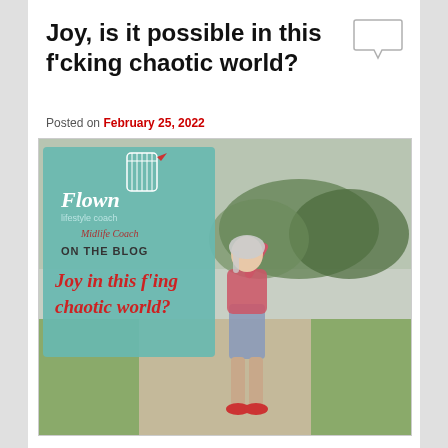Joy, is it possible in this f'cking chaotic world?
Posted on February 25, 2022
[Figure (photo): Blog post featured image showing a woman with gray hair, glasses, wearing a plaid shirt and denim skirt, pointing upward on a rural road. Overlaid on the left side is a teal square graphic with text: 'Flown Lifestyle Coach Midlife Coach ON THE BLOG Joy in this f'ing chaotic world?']